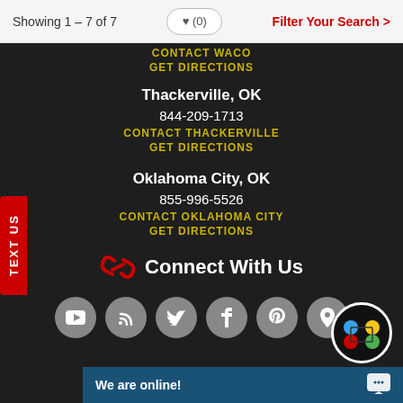Showing 1 – 7 of 7
Filter Your Search >
CONTACT WACO
GET DIRECTIONS
Thackerville, OK
844-209-1713
CONTACT THACKERVILLE
GET DIRECTIONS
Oklahoma City, OK
855-996-5526
CONTACT OKLAHOMA CITY
GET DIRECTIONS
Connect With Us
TEXT US
We are online!